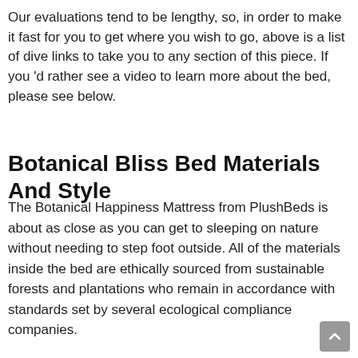Our evaluations tend to be lengthy, so, in order to make it fast for you to get where you wish to go, above is a list of dive links to take you to any section of this piece. If you 'd rather see a video to learn more about the bed, please see below.
Botanical Bliss Bed Materials And Style
The Botanical Happiness Mattress from PlushBeds is about as close as you can get to sleeping on nature without needing to step foot outside. All of the materials inside the bed are ethically sourced from sustainable forests and plantations who remain in accordance with standards set by several ecological compliance companies.